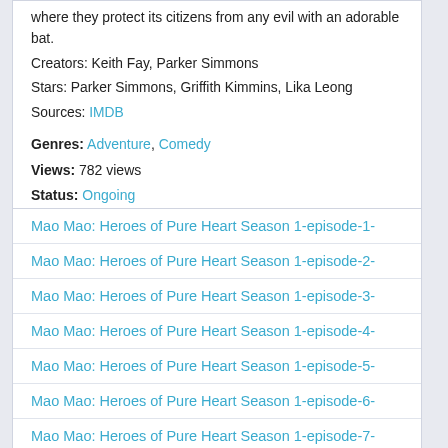where they protect its citizens from any evil with an adorable bat.
Creators: Keith Fay, Parker Simmons
Stars: Parker Simmons, Griffith Kimmins, Lika Leong
Sources: IMDB
Genres: Adventure, Comedy
Views: 782 views
Status: Ongoing
Release: 2019
Type: SERIES
Mao Mao: Heroes of Pure Heart Season 1-episode-1-
Mao Mao: Heroes of Pure Heart Season 1-episode-2-
Mao Mao: Heroes of Pure Heart Season 1-episode-3-
Mao Mao: Heroes of Pure Heart Season 1-episode-4-
Mao Mao: Heroes of Pure Heart Season 1-episode-5-
Mao Mao: Heroes of Pure Heart Season 1-episode-6-
Mao Mao: Heroes of Pure Heart Season 1-episode-7-
Mao Mao: Heroes of Pure Heart Season 1-episode-8-
Mao Mao: Heroes of Pure Heart Season 1-episode-9-